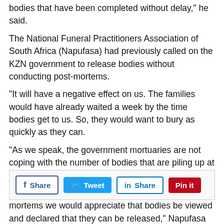bodies that have been completed without delay," he said.
The National Funeral Practitioners Association of South Africa (Napufasa) had previously called on the KZN government to release bodies without conducting post-mortems.
"It will have a negative effect on us. The families would have already waited a week by the time bodies get to us. So, they would want to bury as quickly as they can.
"As we speak, the government mortuaries are not coping with the number of bodies that are piling up at the morgue.
"So, if there was a way that we could skip the post-mortems we would appreciate that bodies be viewed and declared that they can be released," Napufasa president Muzi Hlengwa said.
[Figure (other): Social sharing buttons: Facebook Share, Twitter Tweet, LinkedIn Share, Pinterest Pin it]